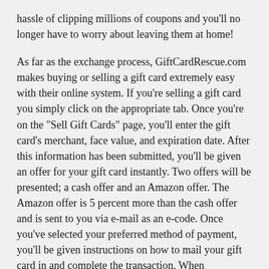hassle of clipping millions of coupons and you'll no longer have to worry about leaving them at home!
As far as the exchange process, GiftCardRescue.com makes buying or selling a gift card extremely easy with their online system. If you're selling a gift card you simply click on the appropriate tab. Once you're on the "Sell Gift Cards" page, you'll enter the gift card's merchant, face value, and expiration date. After this information has been submitted, you'll be given an offer for your gift card instantly. Two offers will be presented; a cash offer and an Amazon offer. The Amazon offer is 5 percent more than the cash offer and is sent to you via e-mail as an e-code. Once you've selected your preferred method of payment, you'll be given instructions on how to mail your gift card in and complete the transaction. When GiftCardRescue.com receives your gift card, they'll verify its value and send your payment within the next 2-3 business days.
If you're buying a gift card, you'll start by clicking the "Buy Gift Cards" tab on the homepage. Once you've done so, you'll be